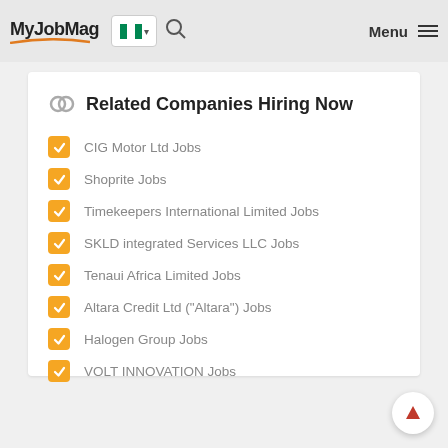MyJobMag — Menu
Related Companies Hiring Now
CIG Motor Ltd Jobs
Shoprite Jobs
Timekeepers International Limited Jobs
SKLD integrated Services LLC Jobs
Tenaui Africa Limited Jobs
Altara Credit Ltd ("Altara") Jobs
Halogen Group Jobs
VOLT INNOVATION Jobs